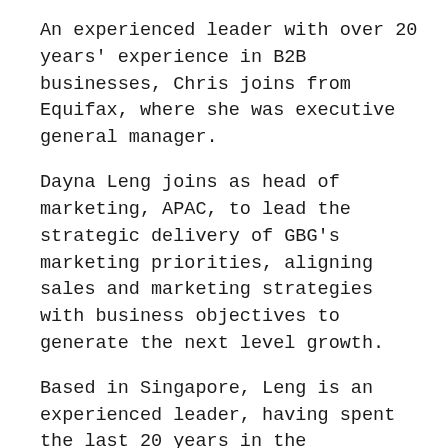An experienced leader with over 20 years' experience in B2B businesses, Chris joins from Equifax, where she was executive general manager.
Dayna Leng joins as head of marketing, APAC, to lead the strategic delivery of GBG's marketing priorities, aligning sales and marketing strategies with business objectives to generate the next level growth.
Based in Singapore, Leng is an experienced leader, having spent the last 20 years in the international B2B technology industry, including senior roles at NetSuite Oracle and Criteo.
"I'm delighted to welcome Chee, Carol and Dayna to our growing APAC team. All three bring a wealth of experience that will be instrumental in expanding and supporting GBG's growth, whilst leading and developing our talented teams," says June Lee,